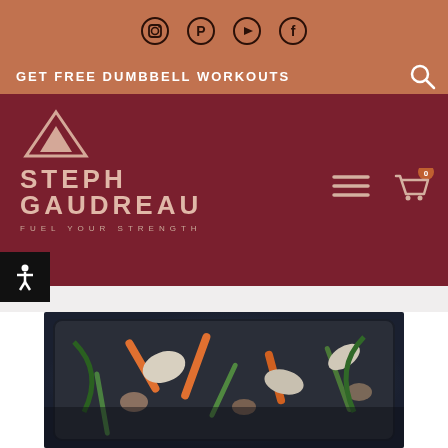Social media icons: Instagram, Pinterest, YouTube, Facebook
GET FREE DUMBBELL WORKOUTS
STEPH GAUDREAU – FUEL YOUR STRENGTH
[Figure (photo): A dark tray/pan filled with stir-fried vegetables including carrots, green beans, cabbage, mushrooms and other vegetables, shot from above on a dark background]
[Figure (logo): Steph Gaudreau logo with triangle/mountain icon, brand name STEPH GAUDREAU and tagline FUEL YOUR STRENGTH on dark red background]